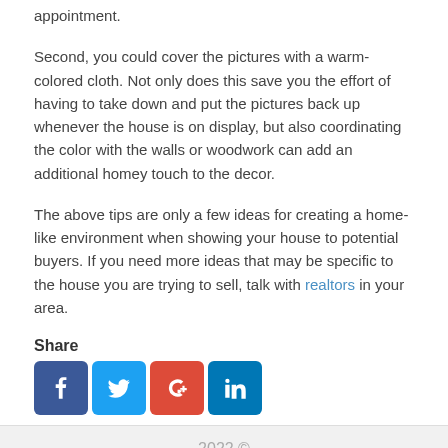appointment.
Second, you could cover the pictures with a warm-colored cloth. Not only does this save you the effort of having to take down and put the pictures back up whenever the house is on display, but also coordinating the color with the walls or woodwork can add an additional homey touch to the decor.
The above tips are only a few ideas for creating a home-like environment when showing your house to potential buyers. If you need more ideas that may be specific to the house you are trying to sell, talk with realtors in your area.
Share
[Figure (infographic): Social media share buttons: Facebook, Twitter, Google+, LinkedIn]
2022 ©